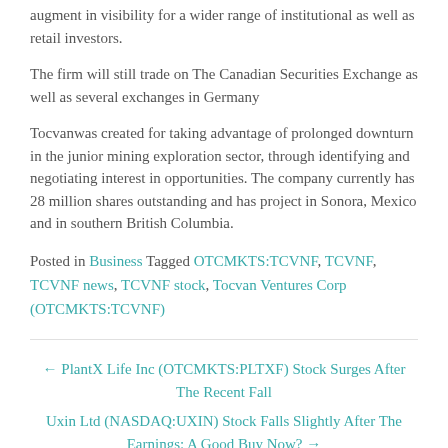augment in visibility for a wider range of institutional as well as retail investors.
The firm will still trade on The Canadian Securities Exchange as well as several exchanges in Germany
Tocvanwas created for taking advantage of prolonged downturn in the junior mining exploration sector, through identifying and negotiating interest in opportunities. The company currently has 28 million shares outstanding and has project in Sonora, Mexico and in southern British Columbia.
Posted in Business Tagged OTCMKTS:TCVNF, TCVNF, TCVNF news, TCVNF stock, Tocvan Ventures Corp (OTCMKTS:TCVNF)
← PlantX Life Inc (OTCMKTS:PLTXF) Stock Surges After The Recent Fall
Uxin Ltd (NASDAQ:UXIN) Stock Falls Slightly After The Earnings: A Good Buy Now? →